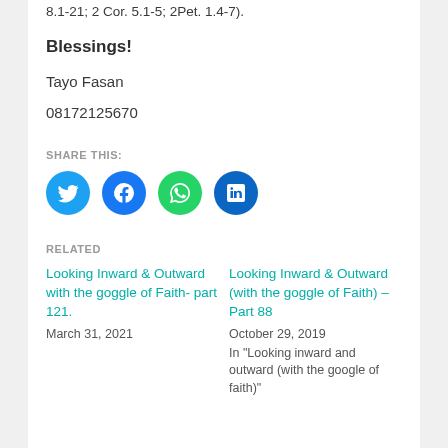8.1-21; 2 Cor. 5.1-5; 2Pet. 1.4-7).
Blessings!
Tayo Fasan
08172125670
SHARE THIS:
[Figure (other): Social share icons: Twitter (blue circle), Facebook (dark blue circle), WhatsApp (green circle), LinkedIn (navy blue circle)]
RELATED
Looking Inward & Outward with the goggle of Faith- part 121.
March 31, 2021
Looking Inward & Outward (with the goggle of Faith) – Part 88
October 29, 2019
In "Looking inward and outward (with the google of faith)"